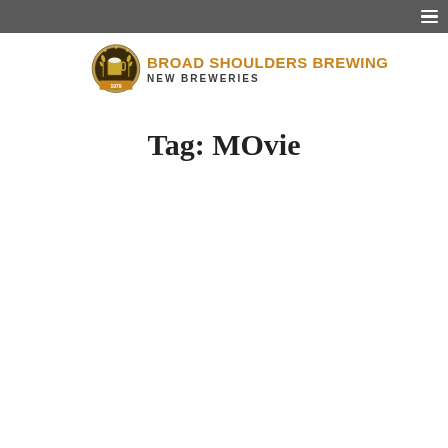[Figure (logo): Broad Shoulders Brewing logo with a circular emblem showing a beer mug and wheat/laurel wreath, dated 1979, next to the text BROAD SHOULDERS BREWING in orange and NEW BREWERIES in dark gray below]
Tag: MOvie